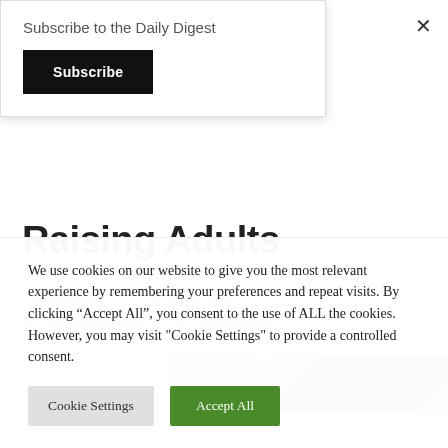Subscribe to the Daily Digest
Subscribe
×
Raising Adults
In Culture   May 1, 2017   Annie Holmquist   0 comments
[Figure (photo): Partial photo of ground/soil texture, brown earthy tones]
We use cookies on our website to give you the most relevant experience by remembering your preferences and repeat visits. By clicking "Accept All", you consent to the use of ALL the cookies. However, you may visit "Cookie Settings" to provide a controlled consent.
Cookie Settings
Accept All